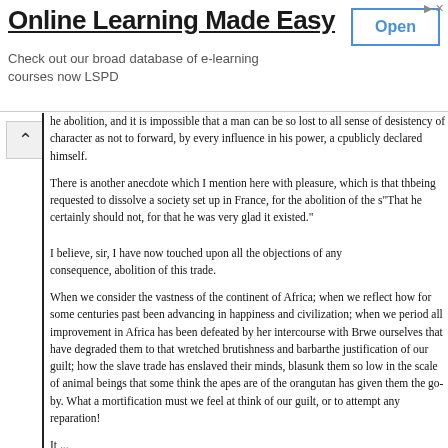[Figure (other): Advertisement banner: 'Online Learning Made Easy' with subtitle 'Check out our broad database of e-learning courses now LSPD' and an 'Open' button.]
he abolition, and it is impossible that a man can be so lost to all sense of de- sistency of character as not to forward, by every influence in his power, a c- publicly declared himself.
There is another anecdote which I mention here with pleasure, which is that th- being requested to dissolve a society set up in France, for the abolition of the s- "That he certainly should not, for that he was very glad it existed."
I believe, sir, I have now touched upon all the objections of any consequence, - abolition of this trade.
When we consider the vastness of the continent of Africa; when we reflect how for some centuries past been advancing in happiness and civilization; when we period all improvement in Africa has been defeated by her intercourse with Br- we ourselves that have degraded them to that wretched brutishness and barbar- the justification of our guilt; how the slave trade has enslaved their minds, bla- sunk them so low in the scale of animal beings that some think the apes are of the orangutan has given them the go-by. What a mortification must we feel at - think of our guilt, or to attempt any reparation!
It ...